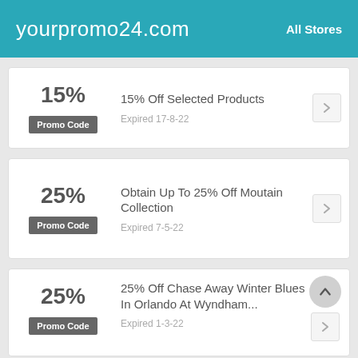yourpromo24.com   All Stores
15% | Promo Code | 15% Off Selected Products | Expired 17-8-22
25% | Promo Code | Obtain Up To 25% Off Moutain Collection | Expired 7-5-22
25% | Promo Code | 25% Off Chase Away Winter Blues In Orlando At Wyndham... | Expired 1-3-22